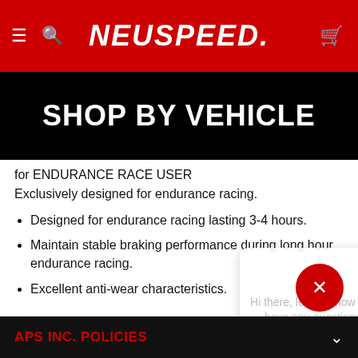NEUSPEED
[Figure (screenshot): Black banner with white bold text reading SHOP BY VEHICLE]
for ENDURANCE RACE USER
Exclusively designed for endurance racing.
Designed for endurance racing lasting 3-4 hours.
Maintain stable braking performance during long hour endurance racing.
Excellent anti-wear characteristics.
[Figure (screenshot): Chat popup overlay with name Anthony, message 'Hi there, let me know if you have any questions :)', powered by gorgias, and Click to reply]
APS INC. POLICIES